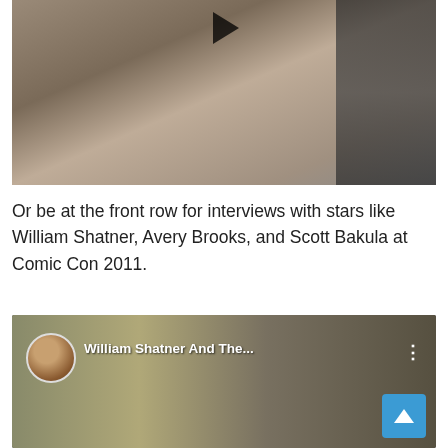[Figure (screenshot): Video thumbnail showing a man wearing sunglasses at what appears to be Comic Con 2011, with a play button overlay at the top center.]
Or be at the front row for interviews with stars like William Shatner, Avery Brooks, and Scott Bakula at Comic Con 2011.
[Figure (screenshot): YouTube video thumbnail titled 'William Shatner And The...' with a circular avatar of a man in a suit on the left, Comic Con banners visible in the background, and a three-dot menu icon. A blue back-to-top button is visible in the bottom right corner.]